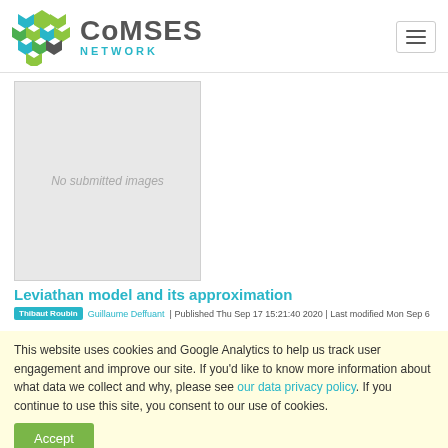CoMSES NETWORK
[Figure (illustration): No submitted images placeholder box]
Leviathan model and its approximation
Thibaut Roubin  Guillaume Deffuant  | Published Thu Sep 17 15:21:40 2020 | Last modified Mon Sep 6
This website uses cookies and Google Analytics to help us track user engagement and improve our site. If you'd like to know more information about what data we collect and why, please see our data privacy policy. If you continue to use this site, you consent to our use of cookies.
Accept
we consider agents having an opinion/esteem about each other and